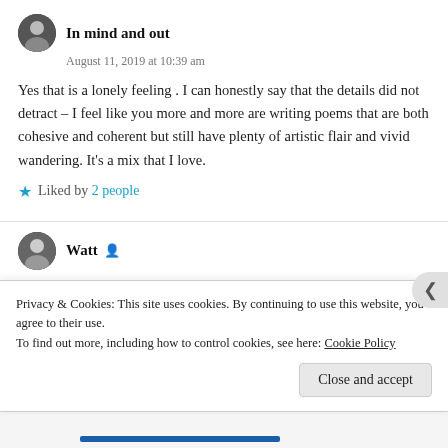In mind and out
August 11, 2019 at 10:39 am
Yes that is a lonely feeling . I can honestly say that the details did not detract – I feel like you more and more are writing poems that are both cohesive and coherent but still have plenty of artistic flair and vivid wandering. It's a mix that I love.
Liked by 2 people
Watt
Privacy & Cookies: This site uses cookies. By continuing to use this website, you agree to their use. To find out more, including how to control cookies, see here: Cookie Policy
Close and accept